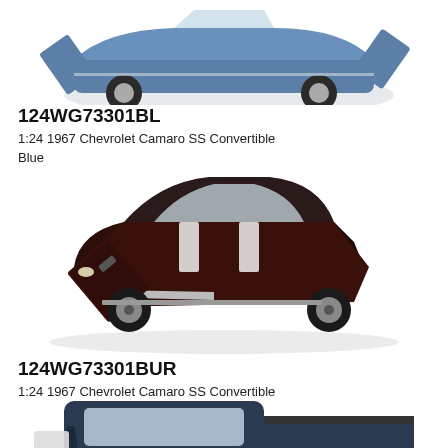[Figure (photo): Blue 1967 Chevrolet Camaro SS Convertible die-cast model, partially visible at top of page, doors open]
124WG73301BL
1:24 1967 Chevrolet Camaro SS Convertible Blue
$29.99
[Figure (photo): Burgundy/dark 1967 Chevrolet Camaro SS Convertible die-cast model, doors open, viewed from above-front angle]
124WG73301BUR
1:24 1967 Chevrolet Camaro SS Convertible Burgundy
$29.99
[Figure (photo): Dark blue classic pickup truck die-cast model, partially visible at bottom of page]